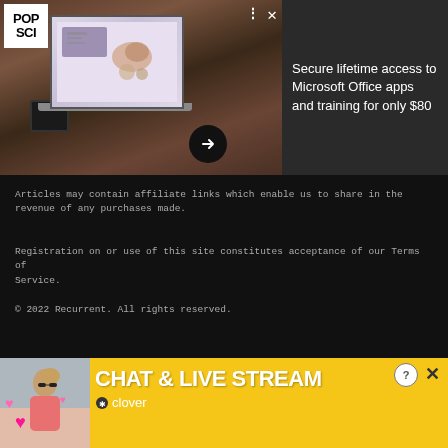[Figure (screenshot): Screenshot showing a website with a popup ad overlay. Left side shows a photo of a person on a laptop with coffee, and POP SCI logo. Right side shows text ad: 'Secure lifetime access to Microsoft Office apps and training for only $80']
Articles may contain affiliate links which enable us to share in the revenue of any purchases made.
Registration on or use of this site constitutes acceptance of our Terms of Service.
© 2022 Recurrent. All rights reserved.
[Figure (screenshot): Bottom banner ad showing 'CHAT & LIVE STREAM' in bold white text on yellow background, with a woman in a bikini on the left, heart emojis, and Clover branding. Has help (?) and close (X) buttons.]